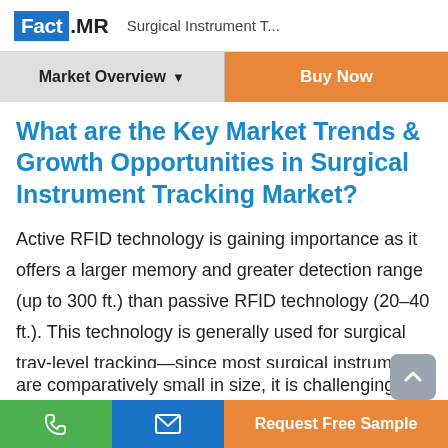Fact.MR Surgical Instrument T...
Market Overview ▼
Buy Now
What are the Key Market Trends & Growth Opportunities in Surgical Instrument Tracking Market?
Active RFID technology is gaining importance as it offers a larger memory and greater detection range (up to 300 ft.) than passive RFID technology (20–40 ft.). This technology is generally used for surgical tray-level tracking—since most surgical instrume are comparatively small in size, it is challenging to
Request Free Sample